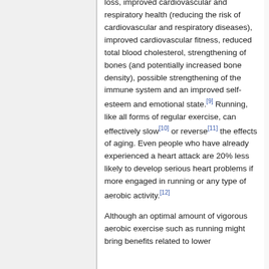loss, improved cardiovascular and respiratory health (reducing the risk of cardiovascular and respiratory diseases), improved cardiovascular fitness, reduced total blood cholesterol, strengthening of bones (and potentially increased bone density), possible strengthening of the immune system and an improved self-esteem and emotional state.[9] Running, like all forms of regular exercise, can effectively slow[10] or reverse[11] the effects of aging. Even people who have already experienced a heart attack are 20% less likely to develop serious heart problems if more engaged in running or any type of aerobic activity.[12]
Although an optimal amount of vigorous aerobic exercise such as running might bring benefits related to lower